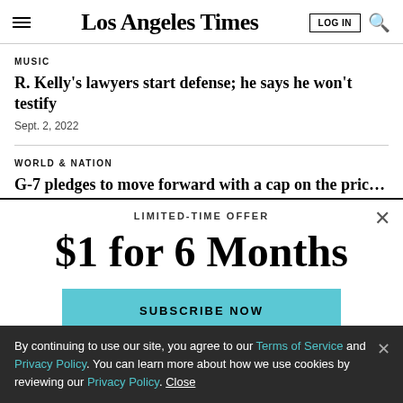Los Angeles Times
MUSIC
R. Kelly's lawyers start defense; he says he won't testify
Sept. 2, 2022
WORLD & NATION
G-7 pledges to move forward with a cap on the price of Russia
LIMITED-TIME OFFER
$1 for 6 Months
SUBSCRIBE NOW
By continuing to use our site, you agree to our Terms of Service and Privacy Policy. You can learn more about how we use cookies by reviewing our Privacy Policy. Close